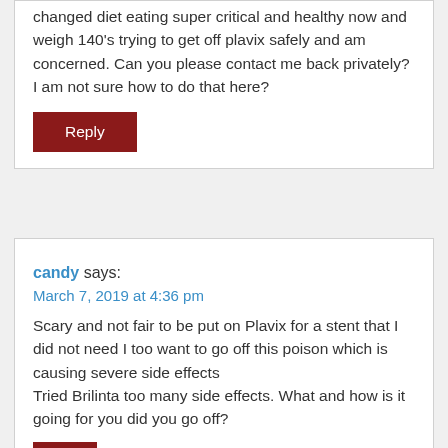changed diet eating super critical and healthy now and weigh 140's trying to get off plavix safely and am concerned. Can you please contact me back privately? I am not sure how to do that here?
Reply
candy says: March 7, 2019 at 4:36 pm
Scary and not fair to be put on Plavix for a stent that I did not need I too want to go off this poison which is causing severe side effects
Tried Brilinta too many side effects. What and how is it going for you did you go off?